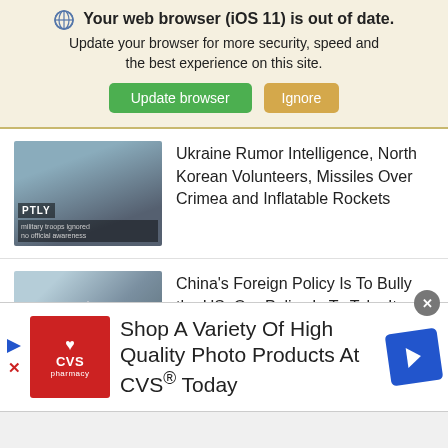🌐 Your web browser (iOS 11) is out of date. Update your browser for more security, speed and the best experience on this site. [Update browser] [Ignore]
[Figure (screenshot): Thumbnail image of a soldier with PTLY label overlay]
Ukraine Rumor Intelligence, North Korean Volunteers, Missiles Over Crimea and Inflatable Rockets
[Figure (screenshot): Thumbnail image of a military aircraft (China)]
China's Foreign Policy Is To Bully the US, Our Policy Is To Take It.
[Figure (screenshot): Thumbnail image of a person, partially visible]
Read this Translation of an Interview with
[Figure (screenshot): CVS Pharmacy advertisement banner: Shop A Variety Of High Quality Photo Products At CVS® Today]